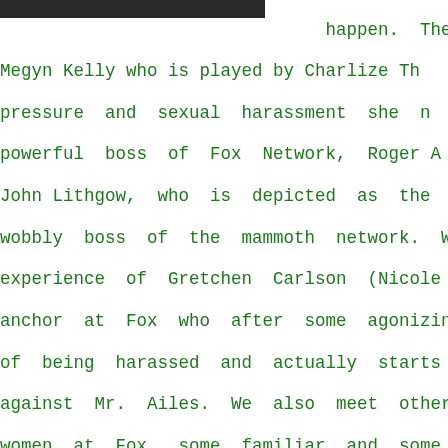[Figure (photo): Partial dark/black image at top left of the page, cropped]
happen. The story of Megyn Kelly who is played by Charlize Th... pressure and sexual harassment she n... powerful boss of Fox Network, Roger A... John Lithgow, who is depicted as the ob... wobbly boss of the mammoth network. We... experience of Gretchen Carlson (Nicole K... anchor at Fox who after some agonizing... of being harassed and actually starts t... against Mr. Ailes. We also meet other p... women at Fox, some familiar and some wh... the scenes. They are played by excel... actresses and their work is intersper... film clips. While the story is quit... revealing and a very important one to do... it somewhat disjointed. In the end, howe... an important part of the epic sto... television journalism. (2019)